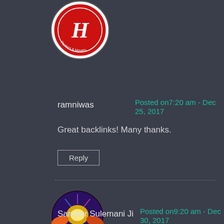[Figure (photo): Circular avatar logo with red background and stylized H letter for Handy Packers & Movers]
ramniwas
Posted on7:20 am - Dec 25, 2017
Great backlinks! Many thanks.
Reply
[Figure (photo): Circular avatar with colorful psychedelic art showing hands holding a glowing orb]
Sameer Sulemani Ji
Posted on9:20 am - Dec 30, 2017